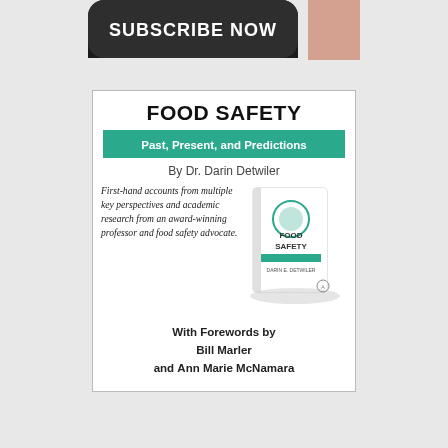[Figure (illustration): Subscribe Now button banner with an arm visible on the right side, dark rounded rectangle button shape]
[Figure (illustration): Book advertisement card for 'Food Safety: Past, Present, and Predictions' by Dr. Darin Detwiler. Features teal subtitle bar, italic description text, a book cover image, and forewords by Bill Marler and Ann Marie McNamara.]
FOOD SAFETY
Past, Present, and Predictions
By Dr. Darin Detwiler
First-hand accounts from multiple key perspectives and academic research from an award-winning professor and food safety advocate.
With Forewords by Bill Marler and Ann Marie McNamara